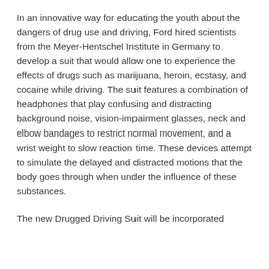In an innovative way for educating the youth about the dangers of drug use and driving, Ford hired scientists from the Meyer-Hentschel Institute in Germany to develop a suit that would allow one to experience the effects of drugs such as marijuana, heroin, ecstasy, and cocaine while driving. The suit features a combination of headphones that play confusing and distracting background noise, vision-impairment glasses, neck and elbow bandages to restrict normal movement, and a wrist weight to slow reaction time. These devices attempt to simulate the delayed and distracted motions that the body goes through when under the influence of these substances.
The new Drugged Driving Suit will be incorporated